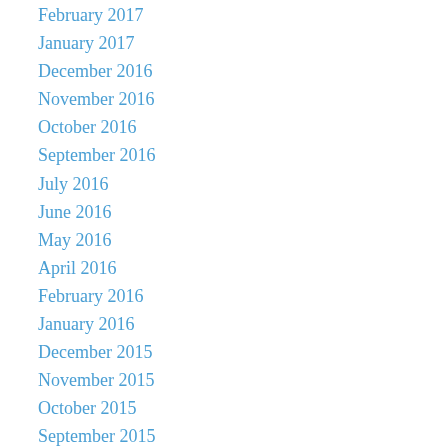February 2017
January 2017
December 2016
November 2016
October 2016
September 2016
July 2016
June 2016
May 2016
April 2016
February 2016
January 2016
December 2015
November 2015
October 2015
September 2015
August 2015
July 2015
June 2015
May 2015